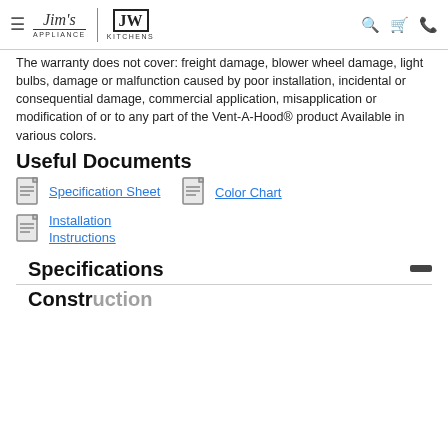Jim's Appliance | JW Kitchens
The warranty does not cover: freight damage, blower wheel damage, light bulbs, damage or malfunction caused by poor installation, incidental or consequential damage, commercial application, misapplication or modification of or to any part of the Vent-A-Hood® product Available in various colors.
Useful Documents
Specification Sheet
Color Chart
Installation Instructions
Specifications
Construction